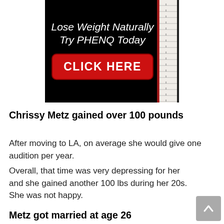[Figure (infographic): Advertisement banner with black background. Text reads 'Lose Weight Naturally Try PHENQ Today' in white italic font. Red rounded rectangle button with white bold text 'CLICK HERE'. A measuring tape graphic on the right edge.]
Chrissy Metz gained over 100 pounds
After moving to LA, on average she would give one audition per year.
Overall, that time was very depressing for her and she gained another 100 lbs during her 20s. She was not happy.
Metz got married at age 26